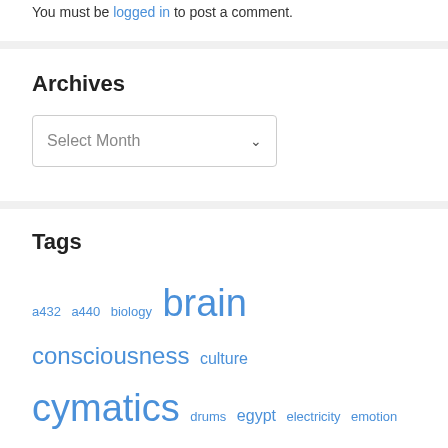You must be logged in to post a comment.
Archives
Select Month
Tags
a432 a440 biology brain consciousness culture cymatics drums egypt electricity emotion energy geometry giza guitar healing health hearing language life